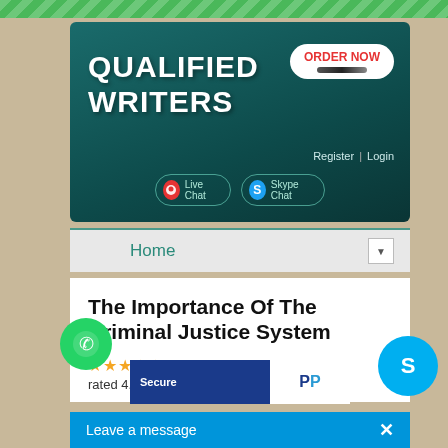[Figure (screenshot): Website header for Qualified Writers with teal/dark green background, logo, ORDER NOW button, Register/Login links, Live Chat and Skype Chat buttons]
Home
The Importance Of The Criminal Justice System
Qualified Writers rated 4.9/5 based on 2480 reviews
Secure [PayPal]
Leave a message  X